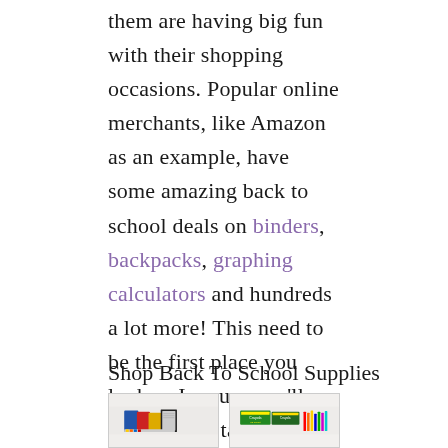them are having big fun with their shopping occasions. Popular online merchants, like Amazon as an example, have some amazing back to school deals on binders, backpacks, graphing calculators and hundreds a lot more! This need to be the first place you look as I assure you'll locate some takes. One of our favorites right now is this 4 pack of 1 Inch, 3 Ring Binders from Amazon for just $8!
Shop Back To School Supplies
[Figure (photo): School supplies including binders, notebooks, and pencils]
[Figure (photo): Crayola crayons boxes and colored supplies]